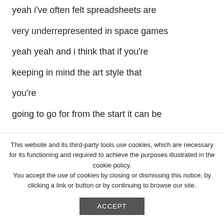yeah i've often felt spreadsheets are
very underrepresented in space games
yeah yeah and i think that if you're
keeping in mind the art style that
you're
going to go for from the start it can be
This website and its third-party tools use cookies, which are necessary for its functioning and required to achieve the purposes illustrated in the cookie policy.
You accept the use of cookies by closing or dismissing this notice, by clicking a link or button or by continuing to browse our site.
ACCEPT